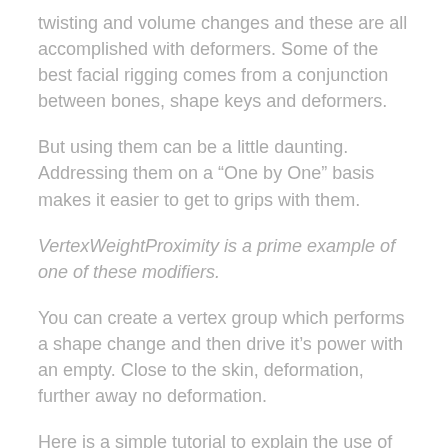twisting and volume changes and these are all accomplished with deformers. Some of the best facial rigging comes from a conjunction between bones, shape keys and deformers.
But using them can be a little daunting. Addressing them on a “One by One” basis makes it easier to get to grips with them.
VertexWeightProximity is a prime example of one of these modifiers.
You can create a vertex group which performs a shape change and then drive it’s power with an empty. Close to the skin, deformation, further away no deformation.
Here is a simple tutorial to explain the use of it,